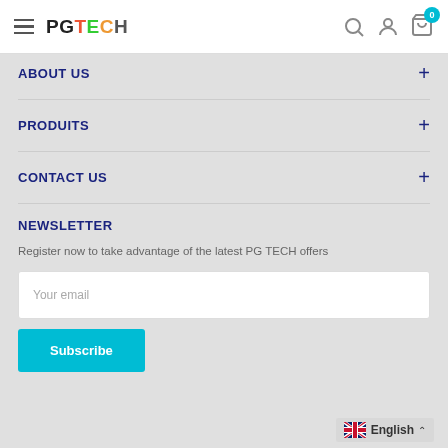PG TECH navigation header with hamburger menu, logo, search, account, and cart icons
ABOUT US +
PRODUITS +
CONTACT US +
NEWSLETTER
Register now to take advantage of the latest PG TECH offers
Your email
Subscribe
English